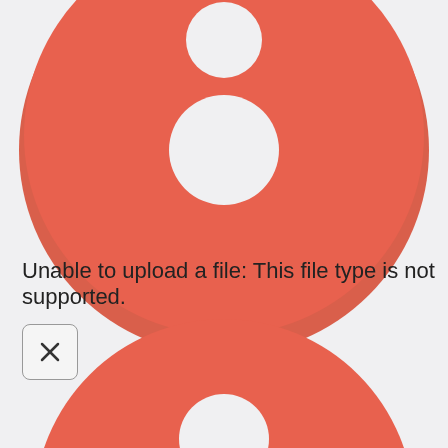[Figure (illustration): Large red circle with two white circular holes (button-like shape), cropped at top of page, partially visible]
Unable to upload a file: This file type is not supported.
[Figure (illustration): Close button: a square with rounded corners and an X symbol inside]
[Figure (illustration): Large red circle with white circular hole (button-like shape), cropped at bottom of page, partially visible]